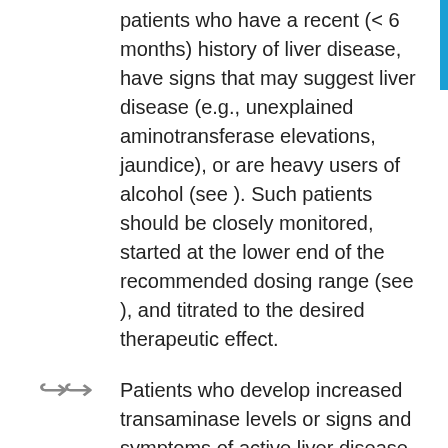patients who have a recent (< 6 months) history of liver disease, have signs that may suggest liver disease (e.g., unexplained aminotransferase elevations, jaundice), or are heavy users of alcohol (see ). Such patients should be closely monitored, started at the lower end of the recommended dosing range (see ), and titrated to the desired therapeutic effect.
Patients who develop increased transaminase levels or signs and symptoms of active liver disease while taking pravastatin should be evaluated with a second liver function evaluation to confirm the finding and be followed thereafter with frequent liver function tests until the abnormality(ies) return to normal. Should an increase in AST or ALT of three times the upper limit of normal or greater persist, withdrawal of pravastatin therapy is recommended.